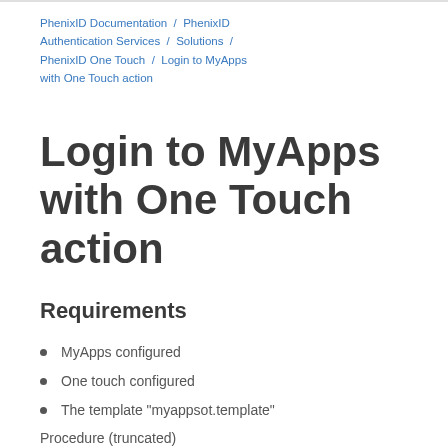PhenixID Documentation / PhenixID Authentication Services / Solutions / PhenixID One Touch / Login to MyApps with One Touch action
Login to MyApps with One Touch action
Requirements
MyApps configured
One touch configured
The template "myappsot.template"
Procedure (truncated)